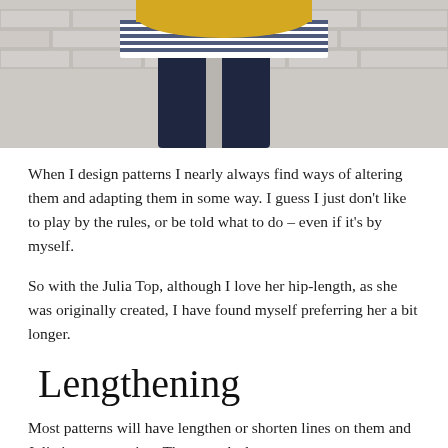[Figure (photo): Back view of a person wearing a yellow top with blue and white striped fabric panel and dark jeans, standing against a white brick wall.]
When I design patterns I nearly always find ways of altering them and adapting them in some way. I guess I just don't like to play by the rules, or be told what to do – even if it's by myself.
So with the Julia Top, although I love her hip-length, as she was originally created, I have found myself preferring her a bit longer.
Lengthening
Most patterns will have lengthen or shorten lines on them and Julia is no exception. These marks let you